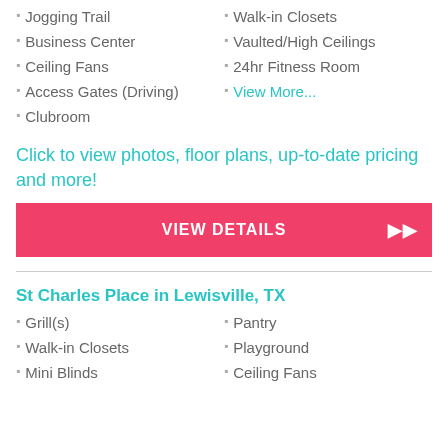Jogging Trail
Walk-in Closets
Business Center
Vaulted/High Ceilings
Ceiling Fans
24hr Fitness Room
Access Gates (Driving)
View More...
Clubroom
Click to view photos, floor plans, up-to-date pricing and more!
VIEW DETAILS
St Charles Place in Lewisville, TX
Grill(s)
Pantry
Walk-in Closets
Playground
Mini Blinds
Ceiling Fans